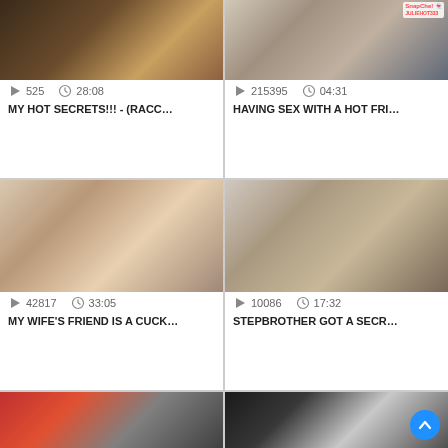[Figure (screenshot): Video thumbnail top-left: dark scene with people]
[Figure (screenshot): Video thumbnail top-right: indoor scene with Snapchat JULIEHOT333 badge]
525  28:08
MY HOT SECRETS!!! - (RACC...
215395  04:31
HAVING SEX WITH A HOT FRI...
[Figure (screenshot): Video thumbnail mid-left: woman in pink lingerie]
[Figure (screenshot): Video thumbnail mid-right: two women in kitchen]
42817  33:05
MY WIFE'S FRIEND IS A CUCK...
10086  17:32
STEPBROTHER GOT A SECR...
[Figure (screenshot): Video thumbnail bottom-left: woman in red dress]
[Figure (screenshot): Video thumbnail bottom-right: close-up scene with scroll-up button overlay]